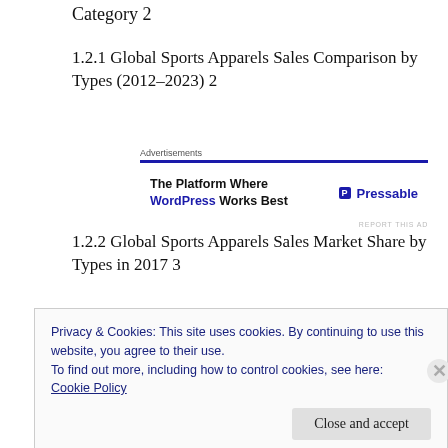Category 2
1.2.1 Global Sports Apparels Sales Comparison by Types (2012-2023) 2
[Figure (other): Advertisement banner for Pressable - The Platform Where WordPress Works Best]
1.2.2 Global Sports Apparels Sales Market Share by Types in 2017 3
Privacy & Cookies: This site uses cookies. By continuing to use this website, you agree to their use.
To find out more, including how to control cookies, see here:
Cookie Policy
Close and accept